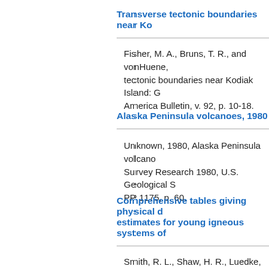Transverse tectonic boundaries near Ko
Fisher, M. A., Bruns, T. R., and vonHuene, tectonic boundaries near Kodiak Island: G America Bulletin, v. 92, p. 10-18.
Alaska Peninsula volcanoes, 1980
Unknown, 1980, Alaska Peninsula volcanoes Survey Research 1980, U.S. Geological S PP 1175, p. 60.
Comprehensive tables giving physical d estimates for young igneous systems of
Smith, R. L., Shaw, H. R., Luedke, R. G., a Comprehensive tables giving physical data estimates for young igneous systems of th Geological Survey Open-File Report 78-09